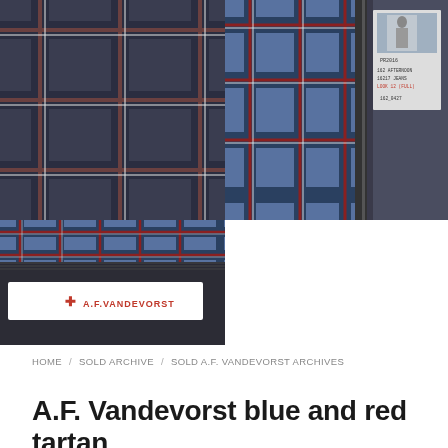[Figure (photo): Grid of four fashion product photos showing A.F. Vandevorst blue and red tartan garment details: top-left shows dark plaid fabric close-up, top-right shows tartan lining with zipper and a show badge card, bottom-left shows tartan waistband with A.F. Vandevorst label tag on dark garment, bottom-right is white/empty space.]
HOME / SOLD ARCHIVE / SOLD A.F. VANDEVORST ARCHIVES
A.F. Vandevorst blue and red tartan